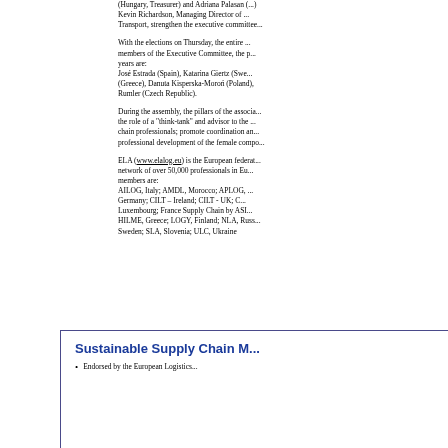(Hungary, Treasurer) and Adriana Palasan (...) Kevin Richardson, Managing Director of ... Transport, strengthen the executive committee...
With the elections on Thursday, the entire ... members of the Executive Committee, the p... years are: José Estrada (Spain), Katarina Giertz (Swe... (Greece), Danuta Kisperska-Moroń (Poland),... Rumler (Czech Republic).
During the assembly, the pillars of the associa... the role of a "think-tank" and advisor to the ... chain professionals; promote coordination an... professional development of the female compo...
ELA (www.elalog.eu) is the European federat... network of over 50,000 professionals in Eu... members are: AILOG, Italy; AMDL, Morocco; APLOG, ... Germany; CILT – Ireland; CILT - UK; C... Luxembourg; France Supply Chain by ASI... HILME, Greece; LOGY, Finland; NLA, Russ... Sweden; SLA, Slovenia; ULC, Ukraine
Sustainable Supply Chain M...
Endorsed by the European Logistics...